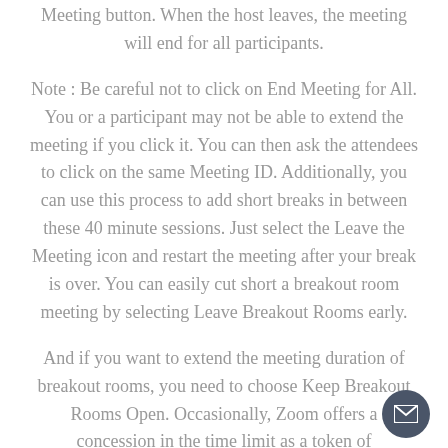Meeting button. When the host leaves, the meeting will end for all participants.
Note : Be careful not to click on End Meeting for All. You or a participant may not be able to extend the meeting if you click it. You can then ask the attendees to click on the same Meeting ID. Additionally, you can use this process to add short breaks in between these 40 minute sessions. Just select the Leave the Meeting icon and restart the meeting after your break is over. You can easily cut short a breakout room meeting by selecting Leave Breakout Rooms early.
And if you want to extend the meeting duration of breakout rooms, you need to choose Keep Breakout Rooms Open. Occasionally, Zoom offers a concession in the time limit as a token of appreciation for free Zoom account holders. Free users can carry out meetings longer than 40 minutes for upcoming special occasions, like New Year